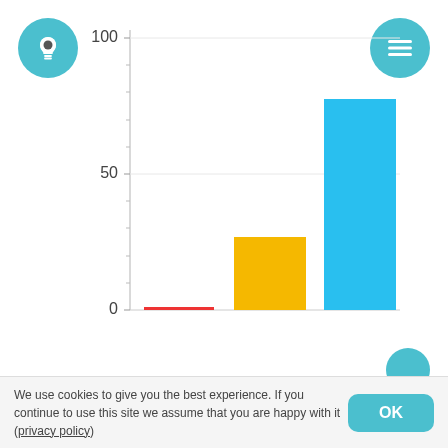[Figure (bar-chart): Bar chart]
We use cookies to give you the best experience. If you continue to use this site we assume that you are happy with it (privacy policy)